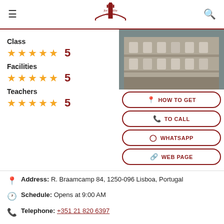For Sevilla Lovers
Class
★★★★★ 5
Facilities
★★★★★ 5
Teachers
★★★★★ 5
[Figure (photo): Exterior of a historic building with ornate architecture]
HOW TO GET
TO CALL
WHATSAPP
WEB PAGE
Address: R. Braamcamp 84, 1250-096 Lisboa, Portugal
Schedule: Opens at 9:00 AM
Telephone: +351 21 820 6397